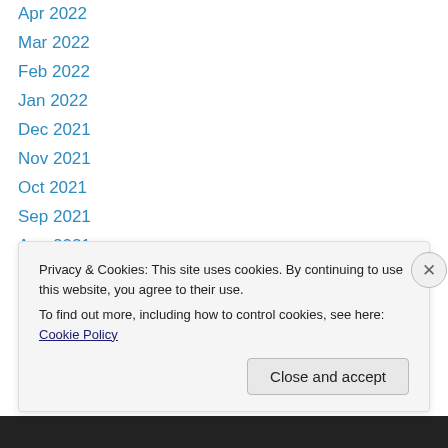Apr 2022
Mar 2022
Feb 2022
Jan 2022
Dec 2021
Nov 2021
Oct 2021
Sep 2021
Aug 2021
Jul 2021
Jun 2021
May 2021
Apr 2021
Mar 2021
Privacy & Cookies: This site uses cookies. By continuing to use this website, you agree to their use.
To find out more, including how to control cookies, see here: Cookie Policy
Close and accept